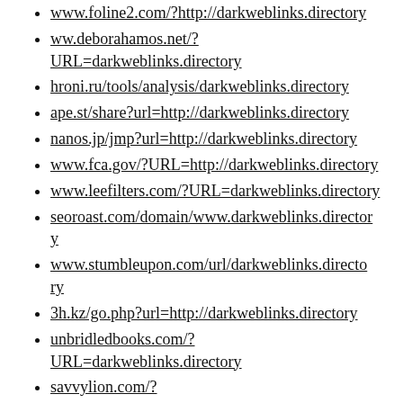www.foline2.com/?http://darkweblinks.directory
ww.deborahamos.net/?URL=darkweblinks.directory
hroni.ru/tools/analysis/darkweblinks.directory
ape.st/share?url=http://darkweblinks.directory
nanos.jp/jmp?url=http://darkweblinks.directory
www.fca.gov/?URL=http://darkweblinks.directory
www.leefilters.com/?URL=darkweblinks.directory
seoroast.com/domain/www.darkweblinks.directory
www.stumbleupon.com/url/darkweblinks.directory
3h.kz/go.php?url=http://darkweblinks.directory
unbridledbooks.com/?URL=darkweblinks.directory
savvylion.com/?bmDomain=darkweblinks.directory
peter.murmann.name/?URL=darkweblinks.directory